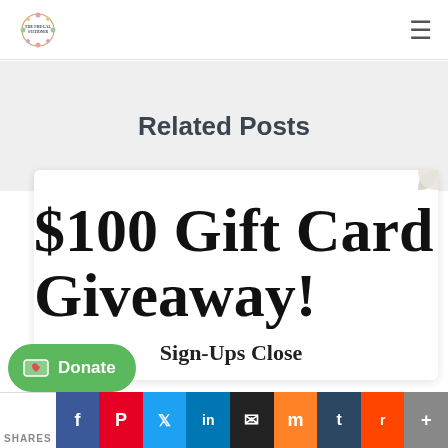The Frugal Stationer — navigation logo and hamburger menu
Related Posts
[Figure (illustration): $100 Gift Card Giveaway! Sign-Ups Close — promotional card image with curled corner effect]
Donate
SHARES — social share bar: Facebook, Pinterest, Twitter, LinkedIn, Email, Mix, Tumblr, Reddit, More